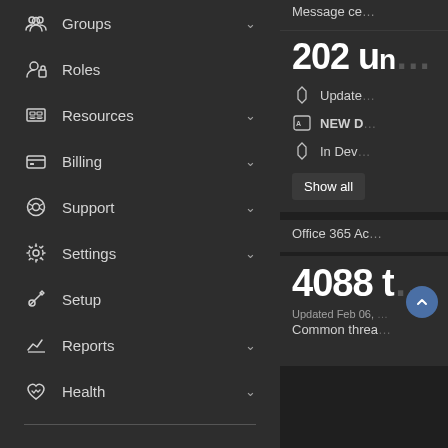Groups
Roles
Resources
Billing
Support
Settings
Setup
Reports
Health
Admin centers
Message ce…
202 un…
Update…
NEW D…
In Dev…
Show all
Office 365 Ac…
4088 t…
Updated Feb 06, …
Common threa…